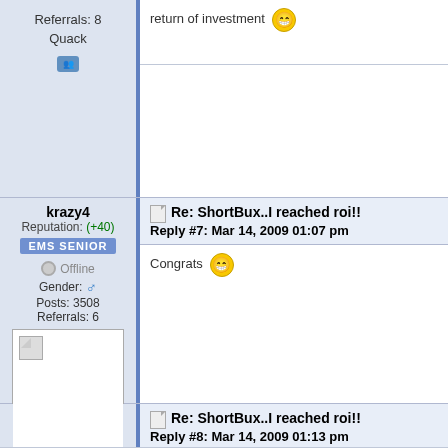Referrals: 8
Quack
return of investment 😁
krazy4
Reputation: (+40)
EMS SENIOR
Offline
Gender: ♂
Posts: 3508
Referrals: 6
[Figure (photo): Broken image placeholder for user avatar]
Re: ShortBux..I reached roi!!
Reply #7: Mar 14, 2009 01:07 pm
Congrats 😁
albs
Reputation: (+31)
EMS VETERAN
Offline
Re: ShortBux..I reached roi!!
Reply #8: Mar 14, 2009 01:13 pm
muchos gracias 😁